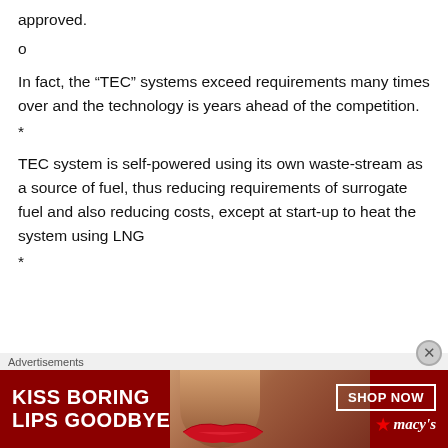approved.
o
In fact, the “TEC” systems exceed requirements many times over and the technology is years ahead of the competition.
*
TEC system is self-powered using its own waste-stream as a source of fuel, thus reducing requirements of surrogate fuel and also reducing costs, except at start-up to heat the system using LNG
*
Advertisements